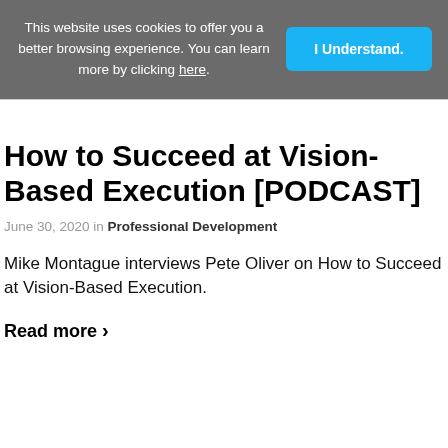This website uses cookies to offer you a better browsing experience. You can learn more by clicking here.
I Understand.
How to Succeed at Vision-Based Execution [PODCAST]
June 30, 2020 in Professional Development
Mike Montague interviews Pete Oliver on How to Succeed at Vision-Based Execution.
Read more >